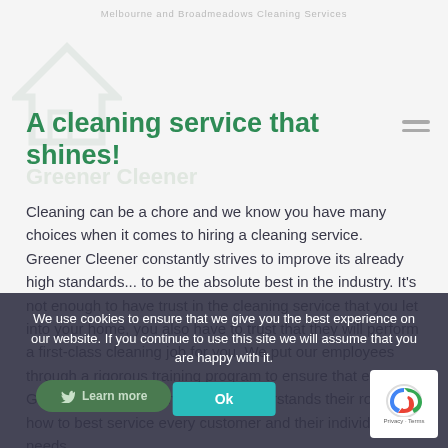Melbourne and Broadmeadows Cleaning Services
A cleaning service that shines!
Cleaning can be a chore and we know you have many choices when it comes to hiring a cleaning service. Greener Cleener constantly strives to improve its already high standards... to be the absolute best in the industry. It’s not enough to have trust in the cleaning service that you let into your home, you also have to trust that they will perform a first-class cleaning job for you. We put our employees through a rigorous training program to ensure that every Greener Cleener team member understands their role and how to best service every customer and their individual needs.
We use cookies to ensure that we give you the best experience on our website. If you continue to use this site we will assume that you are happy with it.
Ok